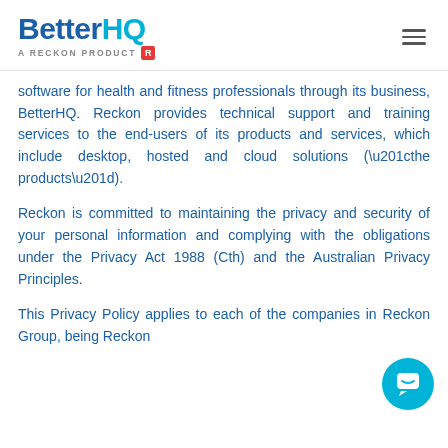BetterHQ — A RECKON PRODUCT
software for health and fitness professionals through its business, BetterHQ. Reckon provides technical support and training services to the end-users of its products and services, which include desktop, hosted and cloud solutions (“the products”).
Reckon is committed to maintaining the privacy and security of your personal information and complying with the obligations under the Privacy Act 1988 (Cth) and the Australian Privacy Principles.
This Privacy Policy applies to each of the companies in Reckon Group, being Reckon